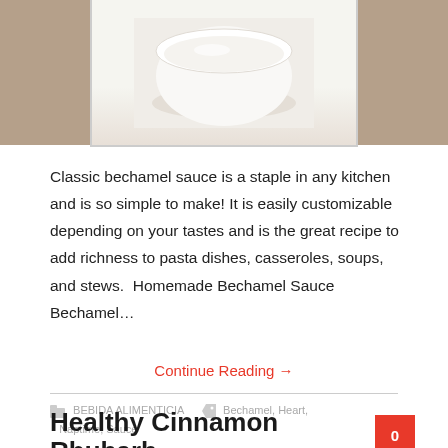[Figure (photo): A white bowl of bechamel sauce viewed from above, set on a tan/brown wooden surface, image cropped at top.]
Classic bechamel sauce is a staple in any kitchen and is so simple to make! It is easily customizable depending on your tastes and is the great recipe to add richness to pasta dishes, casseroles, soups, and stews.  Homemade Bechamel Sauce Bechamel…
Continue Reading →
BEBIDA ALIMENTICIA   Bechamel, Heart, Naptime, Sauce
Healthy Cinnamon Rhubarb